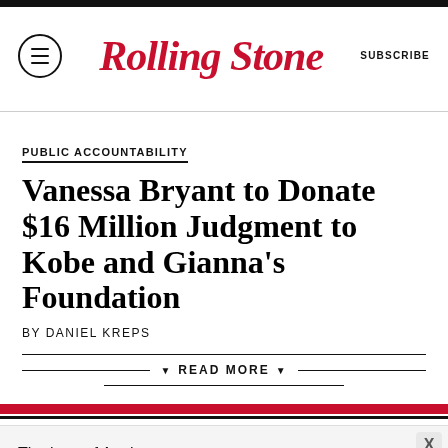Rolling Stone | SUBSCRIBE
PUBLIC ACCOUNTABILITY
Vanessa Bryant to Donate $16 Million Judgment to Kobe and Gianna's Foundation
BY DANIEL KREPS
READ MORE
TRENDING
'A Round of Applause for the Number One Artist
The best of Apple. All in one. Learn more